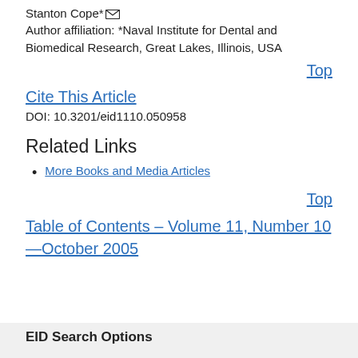Stanton Cope*✉
Author affiliation: *Naval Institute for Dental and Biomedical Research, Great Lakes, Illinois, USA
Top
Cite This Article
DOI: 10.3201/eid1110.050958
Related Links
More Books and Media Articles
Top
Table of Contents – Volume 11, Number 10—October 2005
EID Search Options